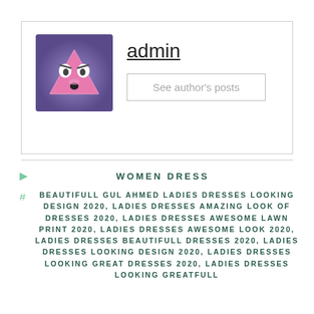[Figure (illustration): Author avatar: cartoon fox/animal face with pink triangle shape on purple background]
admin
See author's posts
WOMEN DRESS
BEAUTIFULL GUL AHMED LADIES DRESSES LOOKING DESIGN 2020, LADIES DRESSES AMAZING LOOK OF DRESSES 2020, LADIES DRESSES AWESOME LAWN PRINT 2020, LADIES DRESSES AWESOME LOOK 2020, LADIES DRESSES BEAUTIFULL DRESSES 2020, LADIES DRESSES LOOKING DESIGN 2020, LADIES DRESSES LOOKING GREAT DRESSES 2020, LADIES DRESSES LOOKING GREATFULL